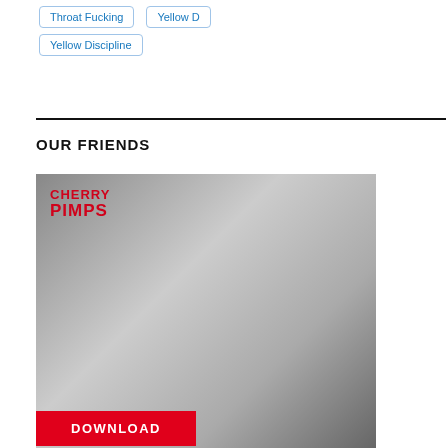Throat Fucking
Yellow D
Yellow Discipline
OUR FRIENDS
[Figure (photo): Cherry Pimps promotional banner with a woman and a Download button]